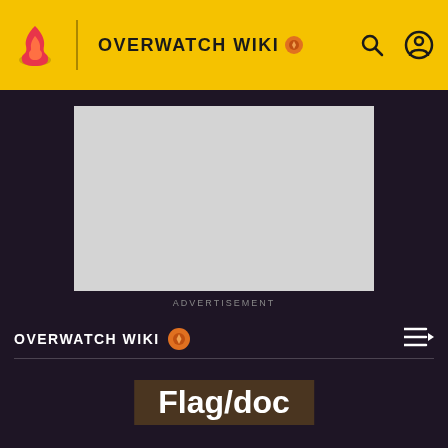OVERWATCH WIKI
[Figure (other): Advertisement placeholder rectangle]
ADVERTISEMENT
OVERWATCH WIKI
Flag/doc
Adds a flag icon.
Usage Example of {{Flag}}
The following code: